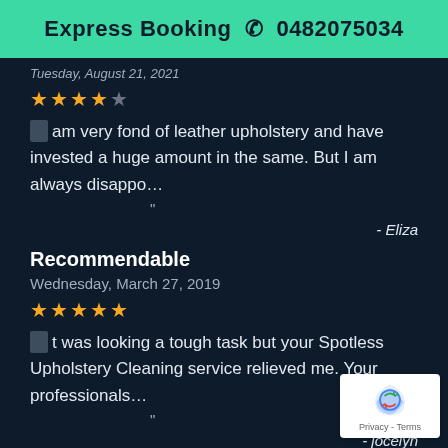Express Booking 📞 0482075034
Tuesday, August 21, 2021
★★★★☆
I am very fond of leather upholstery and have invested a huge amount in the same. But I am always disappo…
- Eliza
Recommendable
Wednesday, March 27, 2019
★★★★★
It was looking a tough task but your Spotless Upholstery Cleaning service relieved me. Your professionals…
- jocelyn